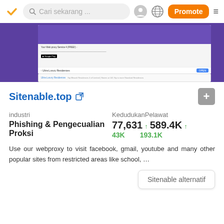Cari sekarang ...
[Figure (screenshot): Screenshot of a website on a purple background, showing a page with Google Play button and ad for Ultra-Luxury Residences]
Sitenable.top
industri
Phishing & Pengecualian Proksi
KedudukanPelawat
77,631 ↑ 43K   589.4K ↑ 193.1K
Use our webproxy to visit facebook, gmail, youtube and many other popular sites from restricted areas like school, ...
Sitenable alternatif